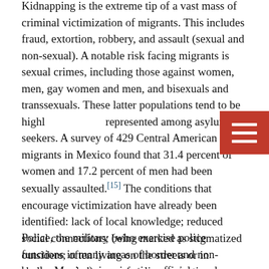Kidnapping is the extreme tip of a vast mass of criminal victimization of migrants. This includes fraud, extortion, robbery, and assault (sexual and non-sexual). A notable risk facing migrants is sexual crimes, including those against women, men, gay women and men, and bisexuals and transsexuals. These latter populations tend to be highly represented among asylum-seekers. A survey of 429 Central American migrants in Mexico found that 31.4 percent of women and 17.2 percent of men had been sexually assaulted.[15] The conditions that encourage victimization have already been identified: lack of local knowledge; reduced social connections; being marked as stigmatized outsiders; often living on the streets or in shelters; and absence of police protection.
Police, the military (who exercise police functions in many areas of border and non-border Mexico), immigration officials, and human rights commission officials rarely are responsive to the reports and needs of migrants, and indeed often are perpetrators. This is documented in two thorough reports, one by José Knippen, Clay Boggs, and Maureen Meyer, and the other by Amnesty International.